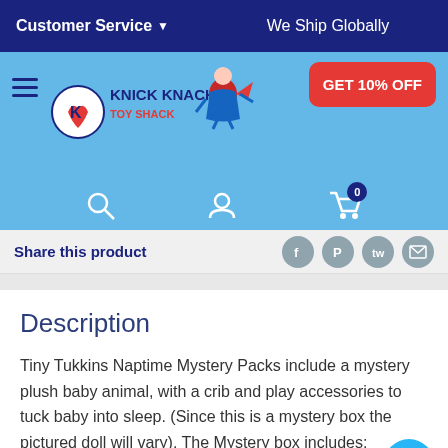Customer Service ▼   We Ship Globally
[Figure (screenshot): Knick Knack Toy Shack website header with logo, hamburger menu, GET 10% OFF button, search icon, user icon, and cart icon with 0 badge]
Share this product
Description
Tiny Tukkins Naptime Mystery Packs include a mystery plush baby animal, with a crib and play accessories to tuck baby into sleep. (Since this is a mystery box the pictured doll will vary). The Mystery box includes:
Plush baby animal.